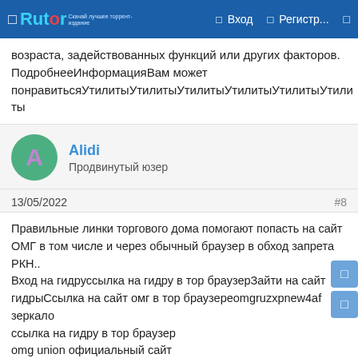Rutor | Вход | Регистр...
возраста, задействованных функций или других факторов. ПодробнееИнформацияВам может понравитьсяУтилитыУтилитыУтилитыУтилитыУтилитыУтили ты
Alidi
Продвинутый юзер
13/05/2022
#8
Правильные линки торгового дома помогают попасть на сайт ОМГ в том числе и через обычный браузер в обход запрета РКН..
Вход на гидруссылка на гидру в тор браузерЗайти на сайт гидрыСсылка на сайт омг в тор браузереomgruzxpnew4af зеркало
ссылка на гидру в тор браузер
omg union официальный сайт